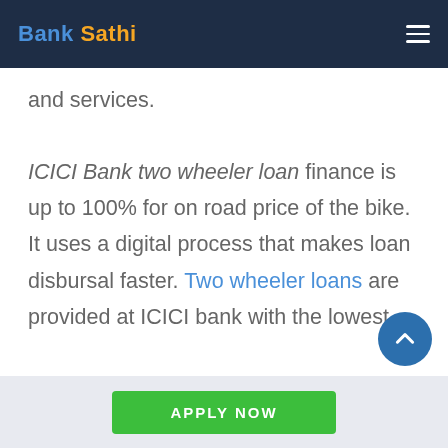Bank Sathi
and services. ICICI Bank two wheeler loan finance is up to 100% for on road price of the bike. It uses a digital process that makes loan disbursal faster. Two wheeler loans are provided at ICICI bank with the lowest
APPLY NOW